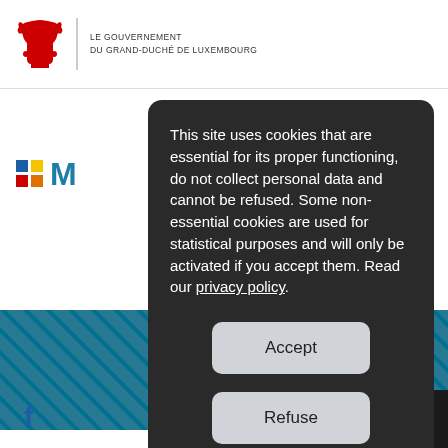LE GOUVERNEMENT DU GRAND-DUCHÉ DE LUXEMBOURG
[Figure (screenshot): Luxembourg government website screenshot showing a cookie consent modal overlay on top of the government portal page. The modal has a dark background with white text explaining cookie usage, and three buttons: Accept, Refuse, and Manage cookies. The background shows the Luxembourg government logo (red lion), colored squares M logo, a teal stripe, search icon, home icon, and Facebook icon.]
This site uses cookies that are essential for its proper functioning, do not collect personal data and cannot be refused. Some non-essential cookies are used for statistical purposes and will only be activated if you accept them. Read our privacy policy.
Accept
Refuse
Manage cookies